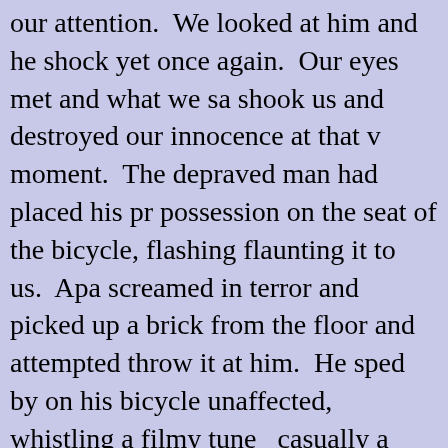our attention. We looked at him and he shock yet once again. Our eyes met and what we sa shook us and destroyed our innocence at that moment. The depraved man had placed his pr possession on the seat of the bicycle, flashing flaunting it to us. Apa screamed in terror and picked up a brick from the floor and attempted throw it at him. He sped by on his bicycle unaffected, whistling a filmy tune casually a happy to give us the proof of his masculinity, and power. Moments after he was gone we fe we had woken up from a nightmare and had b brutally thrown back into the real world that w different. We felt violated and stripped off of c childhood.
We reached the examination room feeling she shocked and completely drained. Shaking and trembling, Rani Apa kept bursting into fits of uncontrollable tears. Our teachers got concern kept asking us what went wrong and amid sob them what had happened. Rani Apa kept quiet didn't utter a single word. She looked lost an scared.